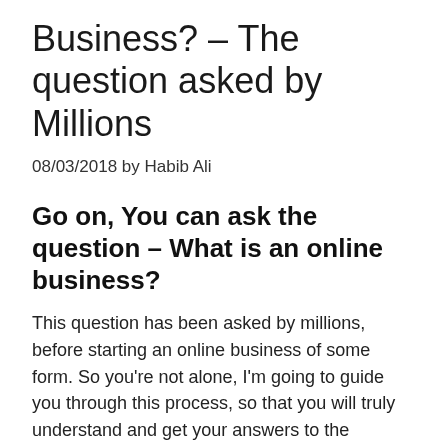Business? – The question asked by Millions
08/03/2018 by Habib Ali
Go on, You can ask the question – What is an online business?
This question has been asked by millions, before starting an online business of some form. So you're not alone, I'm going to guide you through this process, so that you will truly understand and get your answers to the question(s) that you're searching for, 'what is an online business?'. So lets, begin...